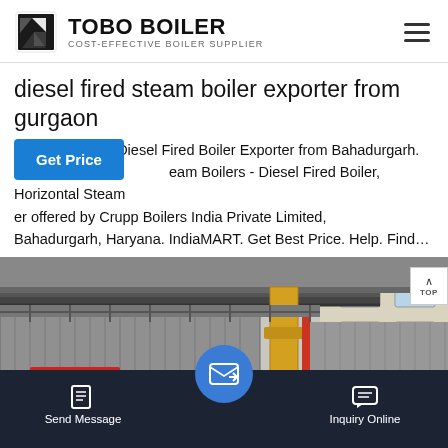TOBO BOILER - COST-EFFECTIVE BOILER SUPPLIER
diesel fired steam boiler exporter from gurgaon
Steam Boilers - Diesel Fired Boiler Exporter from Bahadurgarh. Steam Boilers - Diesel Fired Boiler, Horizontal Steam Boiler offered by Crupp Boilers India Private Limited, Bahadurgarh, Haryana. IndiaMART. Get Best Price. Help. Find…
[Figure (photo): Industrial steam boiler equipment inside a factory/warehouse setting. Large metallic boiler unit with yellow pipe/fitting visible, Chinese text logo on boiler. Corrugated metal walls in background.]
Send Message | Inquiry Online